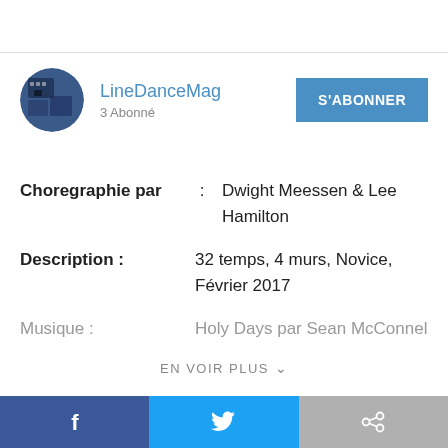[Figure (photo): Circular avatar thumbnail for LineDanceMag channel showing a dark blue/teal abstract image]
LineDanceMag
3 Abonné
S'ABONNER
Choregraphie par  :  Dwight Meessen & Lee Hamilton
Description :            32 temps, 4 murs, Novice, Février 2017
Musique :              Holy Days par Sean McConnel
EN VOIR PLUS
[Figure (logo): Facebook icon button (dark blue)]
[Figure (logo): Twitter bird icon button (light blue)]
[Figure (logo): Share icon button (grey)]